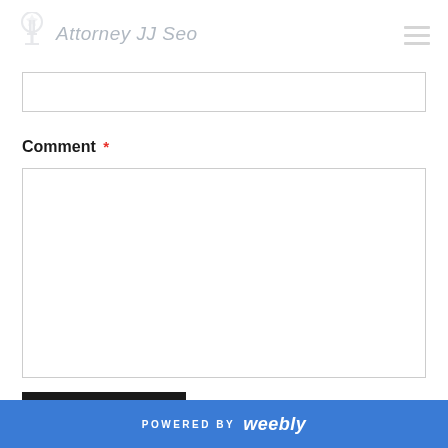Attorney JJ Seo
[Input field — partially visible]
Comment *
[Comment textarea]
Submit
POWERED BY weebly